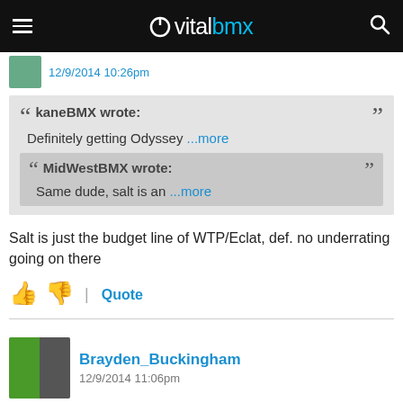vitalbmx
12/9/2014 10:26pm
kaneBMX wrote: Definitely getting Odyssey ...more
MidWestBMX wrote: Same dude, salt is an ...more
Salt is just the budget line of WTP/Eclat, def. no underrating going on there
Quote
Brayden_Buckingham
12/9/2014 11:06pm
Fatigue stress only , I want to see dropout welds and dent resistance tests !